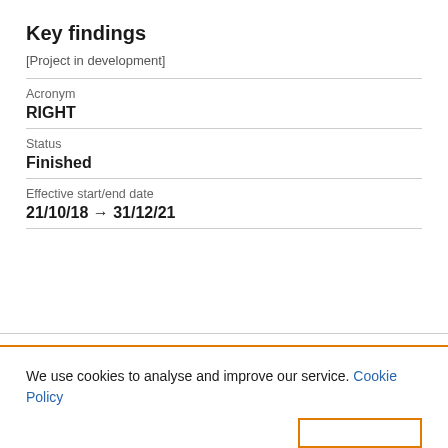Key findings
[Project in development]
| Acronym | RIGHT |
| Status | Finished |
| Effective start/end date | 21/10/18 → 31/12/21 |
We use cookies to analyse and improve our service. Cookie Policy